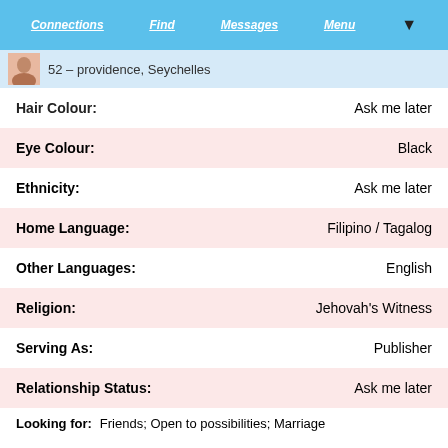Connections   Find   Messages   Menu
52 – providence, Seychelles
Hair Colour:   Ask me later
Eye Colour:   Black
Ethnicity:   Ask me later
Home Language:   Filipino / Tagalog
Other Languages:   English
Religion:   Jehovah's Witness
Serving As:   Publisher
Relationship Status:   Ask me later
Looking for:   Friends; Open to possibilities; Marriage